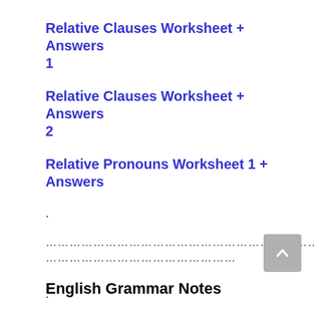Relative Clauses Worksheet + Answers 1
Relative Clauses Worksheet + Answers 2
Relative Pronouns Worksheet 1 + Answers
.
…………………………………………………………………………………………………………………
…………………………………………
English Grammar Notes
.